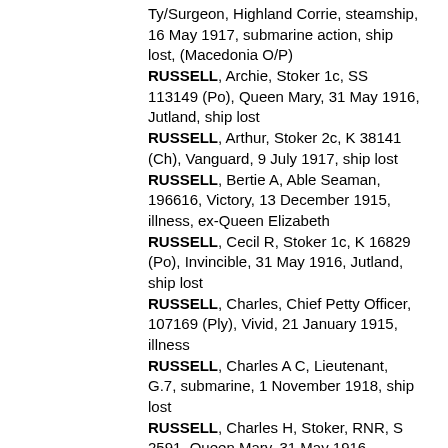RUSSELL, Archibald M, Ty/Surgeon, Highland Corrie, steamship, 16 May 1917, submarine action, ship lost, (Macedonia O/P)
RUSSELL, Archie, Stoker 1c, SS 113149 (Po), Queen Mary, 31 May 1916, Jutland, ship lost
RUSSELL, Arthur, Stoker 2c, K 38141 (Ch), Vanguard, 9 July 1917, ship lost
RUSSELL, Bertie A, Able Seaman, 196616, Victory, 13 December 1915, illness, ex-Queen Elizabeth
RUSSELL, Cecil R, Stoker 1c, K 16829 (Po), Invincible, 31 May 1916, Jutland, ship lost
RUSSELL, Charles, Chief Petty Officer, 107169 (Ply), Vivid, 21 January 1915, illness
RUSSELL, Charles A C, Lieutenant, G.7, submarine, 1 November 1918, ship lost
RUSSELL, Charles H, Stoker, RNR, S 2591, Queen Mary, 31 May 1916, Jutland, ship lost
RUSSELL, Clement, Chief Baker, MMR, (service number not listed), Teutonic, 2 July 1915, illness